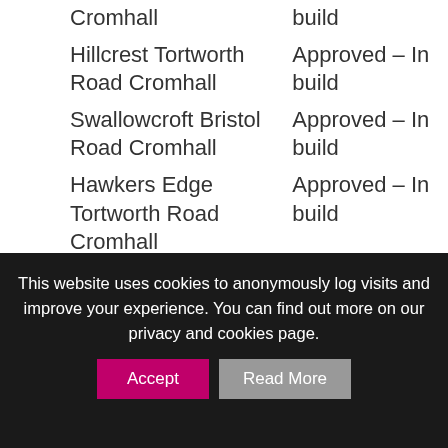Cromhall | build
Hillcrest Tortworth Road Cromhall | Approved – In build
Swallowcroft Bristol Road Cromhall | Approved – In build
Hawkers Edge Tortworth Road Cromhall | Approved – In build
Kesoak Tortworth Road Cromhall | Approved – In build
Bibstone Farmhouse Tortworth Road Cromhall | Approved – In build
This website uses cookies to anonymously log visits and improve your experience. You can find out more on our privacy and cookies page.